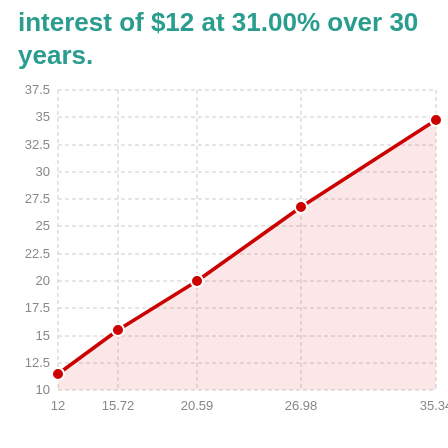interest of $12 at 31.00% over 30 years.
[Figure (line-chart): interest of $12 at 31.00% over 30 years.]